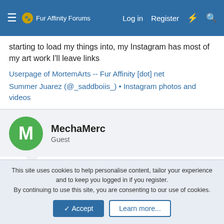Fur Affinity Forums  Log in  Register
starting to load my things into, my Instagram has most of my art work I'll leave links
Userpage of MortemArts -- Fur Affinity [dot] net
Summer Juarez (@_saddboiis_) • Instagram photos and videos
MechaMerc
Guest
Dec 11, 2017   #5
I'd be at the higher end of your budget but I'm interested and enjoy painting characters of this nature.
Would be a sketch followed by a paint (I don't use a sketch/line/flat/color process, I go straight to paint).
This site uses cookies to help personalise content, tailor your experience and to keep you logged in if you register.
By continuing to use this site, you are consenting to our use of cookies.
Accept  Learn more...